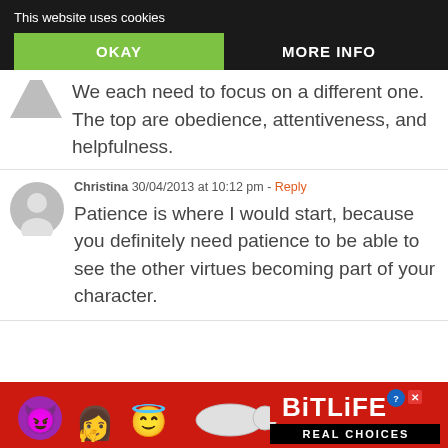This website uses cookies
OKAY
MORE INFO
We each need to focus on a different one. The top are obedience, attentiveness, and helpfulness.
Christina 30/04/2013 at 10:12 pm - Reply
Patience is where I would start, because you definitely need patience to be able to see the other virtues becoming part of your character.
[Figure (infographic): BitLife - Real Choices advertisement banner with colorful emoji characters (devil, woman, angel face with halo) and a worm, on a red background with the BitLife logo and REAL CHOICES text in black banner.]